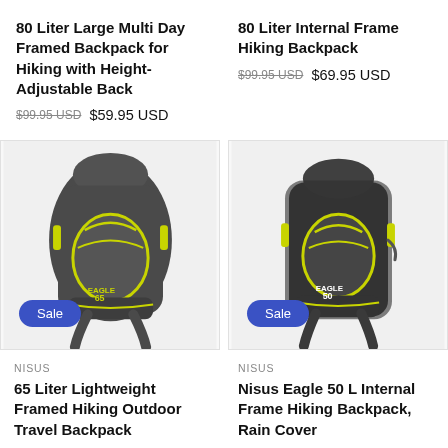80 Liter Large Multi Day Framed Backpack for Hiking with Height-Adjustable Back
$99.95 USD  $59.95 USD
80 Liter Internal Frame Hiking Backpack
$99.95 USD  $69.95 USD
[Figure (photo): Gray and yellow 65-liter framed hiking backpack with Sale badge]
[Figure (photo): Gray and yellow Nisus Eagle 50L internal frame hiking backpack with Sale badge and rain cover]
NISUS
65 Liter Lightweight Framed Hiking Outdoor Travel Backpack
NISUS
Nisus Eagle 50 L Internal Frame Hiking Backpack, Rain Cover